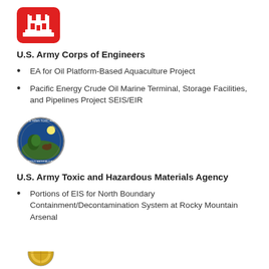[Figure (logo): U.S. Army Corps of Engineers red building/castle logo icon]
U.S. Army Corps of Engineers
EA for Oil Platform-Based Aquaculture Project
Pacific Energy Crude Oil Marine Terminal, Storage Facilities, and Pipelines Project SEIS/EIR
[Figure (logo): U.S. Army Toxic and Hazardous Materials Agency circular seal/logo with blue background showing nature scene]
U.S. Army Toxic and Hazardous Materials Agency
Portions of EIS for North Boundary Containment/Decontamination System at Rocky Mountain Arsenal
[Figure (logo): Partial circular government agency seal/logo with gold/yellow coloring, partially cut off at bottom of page]